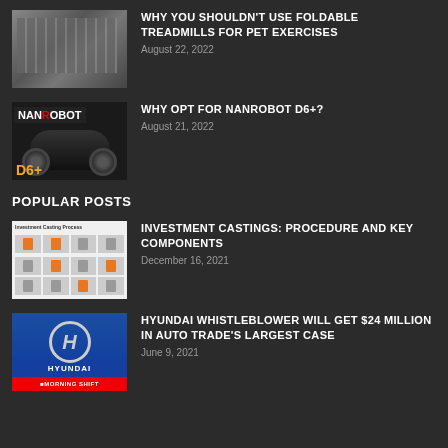[Figure (photo): Photo of treadmills in a gym]
WHY YOU SHOULDN'T USE FOLDABLE TREADMILLS FOR PET EXERCISES
August 22, 2022
[Figure (photo): Photo of Nanrobot D6+ electric scooter with logo]
WHY OPT FOR NANROBOT D6+?
August 21, 2022
POPULAR POSTS
[Figure (photo): Investment Casting Process diagram on white background]
INVESTMENT CASTINGS: PROCEDURE AND KEY COMPONENTS
December 16, 2021
[Figure (photo): Hyundai logo sign with Morning Shift branding and a person in foreground]
HYUNDAI WHISTLEBLOWER WILL GET $24 MILLION IN AUTO TRADE'S LARGEST CASE
June 9, 2021